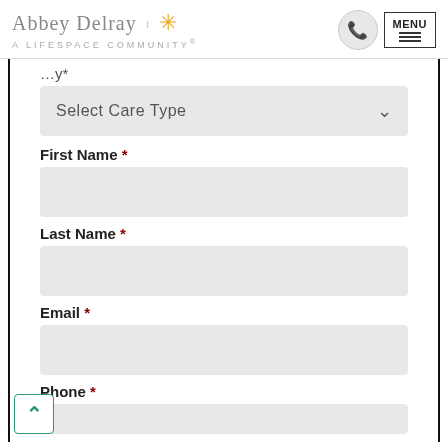Abbey Delray | A Lifespace Community
Select Care Type
First Name *
Last Name *
Email *
Phone *